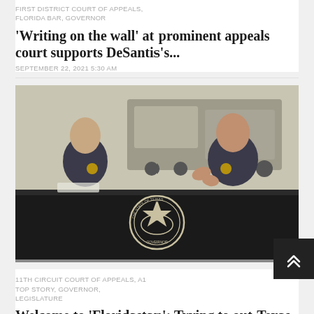FIRST DISTRICT COURT OF APPEALS, FLORIDA BAR, GOVERNOR
'Writing on the wall' at prominent appeals court supports DeSantis's...
SEPTEMBER 22, 2021 5:30 AM
[Figure (photo): Two men in dark shirts sitting at a table with a State of Texas Governor seal on the front, with trucks visible in the background outdoors]
11TH CIRCUIT COURT OF APPEALS, A1 TOP STORY, GOVERNOR, LEGISLATURE
Welcome to 'Floridastan': Trying to out-Texas Texas, DeSantis and GOP